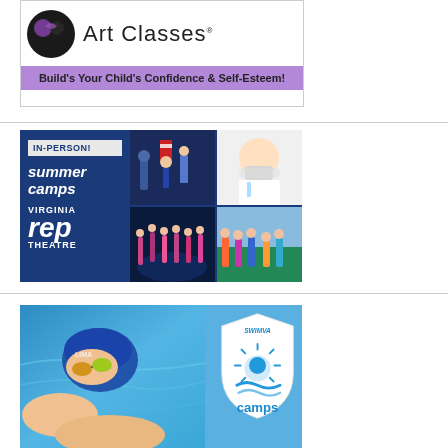[Figure (illustration): Art Classes advertisement with logo and tagline 'Build's Your Child's Confidence & Self-Esteem!' on purple background]
[Figure (photo): Virginia Rep Theatre In-Person Summer Camps advertisement with collage of theatre performance photos on dark blue background]
[Figure (photo): Swimva Camps advertisement showing a swimmer in a blue cap with goggles, with Swimva Camps shield logo]